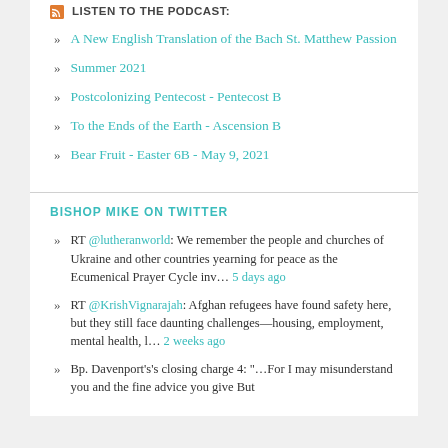LISTEN TO THE PODCAST:
A New English Translation of the Bach St. Matthew Passion
Summer 2021
Postcolonizing Pentecost - Pentecost B
To the Ends of the Earth - Ascension B
Bear Fruit - Easter 6B - May 9, 2021
BISHOP MIKE ON TWITTER
RT @lutheranworld: We remember the people and churches of Ukraine and other countries yearning for peace as the Ecumenical Prayer Cycle inv... 5 days ago
RT @KrishVignarajah: Afghan refugees have found safety here, but they still face daunting challenges—housing, employment, mental health, l... 2 weeks ago
Bp. Davenport's's closing charge 4: "...For I may misunderstand you and the fine advice you give But